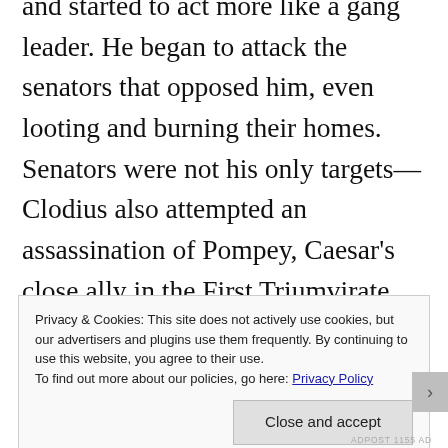Aiper Publius Clodius became less of a politician and started to act more like a gang leader. He began to attack the senators that opposed him, even looting and burning their homes. Senators were not his only targets—Clodius also attempted an assassination of Pompey, Caesar's close ally in the First Triumvirate. The assassination failed, but Clodius was determined to weaken Pompey. He managed to put the old general under house arrest. In retaliation,
Privacy & Cookies: This site does not actively use cookies, but our advertisers and plugins use them frequently. By continuing to use this website, you agree to their use.
To find out more about our policies, go here: Privacy Policy
Close and accept
ADPOST 1155 AD